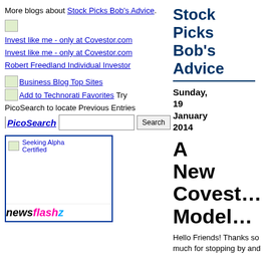More blogs about Stock Picks Bob's Advice.
[Figure (other): Small image placeholder]
Invest like me - only at Covestor.com
Invest like me - only at Covestor.com
Robert Freedland Individual Investor
[Figure (other): Business Blog Top Sites icon]
Business Blog Top Sites
[Figure (other): Technorati icon]
Add to Technorati Favorites Try PicoSearch to locate Previous Entries
[Figure (other): PicoSearch logo with search box and Search button]
[Figure (other): Seeking Alpha Certified badge box with newsfleah bar at bottom]
Stock Picks Bob's Advice
Sunday, 19 January 2014
A New Covest... Model...
Hello Friends! Thanks so much for stopping by and